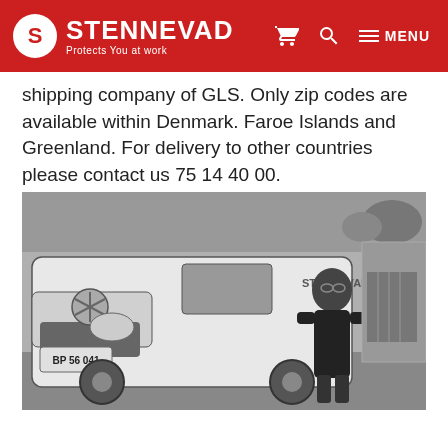STENNEVAD — Protects You at work
shipping company of GLS. Only zip codes are available within Denmark. Faroe Islands and Greenland. For delivery to other countries please contact us 75 14 40 00.
[Figure (photo): Black and white photo of a person in dark uniform standing next to a white Mercedes van with Stennevad logo and license plate BP 56 041, in front of a building.]